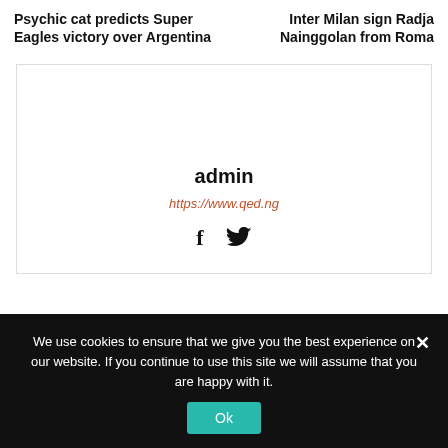Psychic cat predicts Super Eagles victory over Argentina
Inter Milan sign Radja Nainggolan from Roma
[Figure (other): Profile card box with admin name, URL link, and social media icons (Facebook f and Twitter bird)]
admin
https://www.qed.ng
We use cookies to ensure that we give you the best experience on our website. If you continue to use this site we will assume that you are happy with it.
Ok